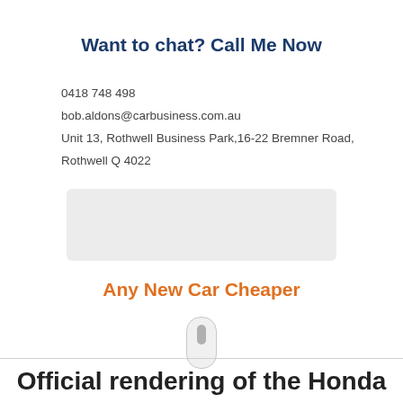Want to chat? Call Me Now
0418 748 498
bob.aldons@carbusiness.com.au
Unit 13, Rothwell Business Park,16-22 Bremner Road, Rothwell Q 4022
[Figure (other): Light grey rectangular placeholder image]
Any New Car Cheaper
[Figure (other): Scroll indicator icon - small rounded rectangle with inner bar]
Official rendering of the Honda